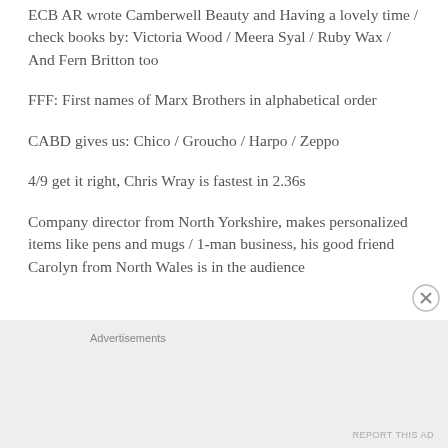ECB AR wrote Camberwell Beauty and Having a lovely time / check books by: Victoria Wood / Meera Syal / Ruby Wax / And Fern Britton too
FFF: First names of Marx Brothers in alphabetical order
CABD gives us: Chico / Groucho / Harpo / Zeppo
4/9 get it right, Chris Wray is fastest in 2.36s
Company director from North Yorkshire, makes personalized items like pens and mugs / 1-man business, his good friend Carolyn from North Wales is in the audience
Advertisements
REPORT THIS AD